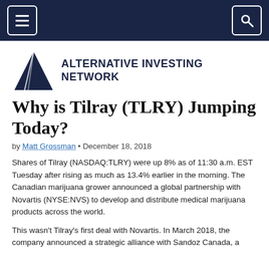Navigation bar with hamburger menu and search icon
[Figure (logo): Alternative Investing Network logo — dark blue triangle with white diagonal lines and bold dark blue text reading ALTERNATIVE INVESTING NETWORK]
Why is Tilray (TLRY) Jumping Today?
by Matt Grossman • December 18, 2018
Shares of Tilray (NASDAQ:TLRY) were up 8% as of 11:30 a.m. EST Tuesday after rising as much as 13.4% earlier in the morning. The Canadian marijuana grower announced a global partnership with Novartis (NYSE:NVS) to develop and distribute medical marijuana products across the world.
This wasn't Tilray's first deal with Novartis. In March 2018, the company announced a strategic alliance with Sandoz Canada, a